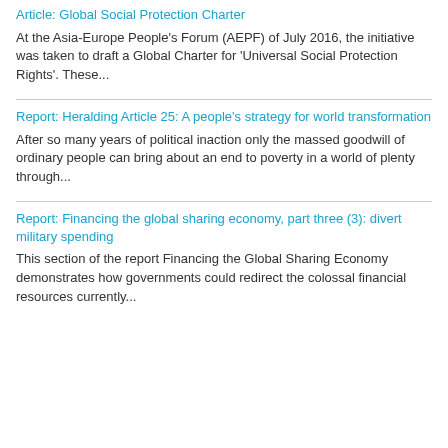Article: Global Social Protection Charter
At the Asia-Europe People's Forum (AEPF) of July 2016, the initiative was taken to draft a Global Charter for 'Universal Social Protection Rights'. These...
Report: Heralding Article 25: A people's strategy for world transformation
After so many years of political inaction only the massed goodwill of ordinary people can bring about an end to poverty in a world of plenty through...
Report: Financing the global sharing economy, part three (3): divert military spending
This section of the report Financing the Global Sharing Economy demonstrates how governments could redirect the colossal financial resources currently...